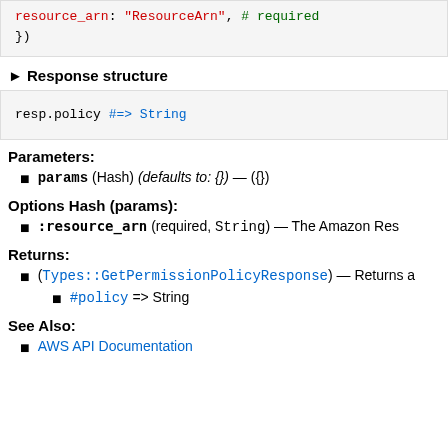[Figure (screenshot): Code block showing: resource_arn: "ResourceArn", # required
})]
▶ Response structure
[Figure (screenshot): Code block showing: resp.policy #=> String]
Parameters:
params (Hash) (defaults to: {}) — ({})
Options Hash (params):
:resource_arn (required, String) — The Amazon Res...
Returns:
(Types::GetPermissionPolicyResponse) — Returns a...
#policy => String
See Also:
AWS API Documentation